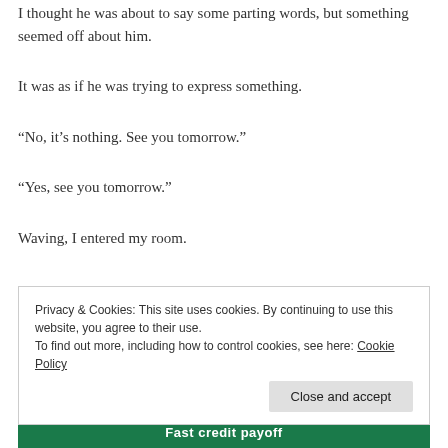I thought he was about to say some parting words, but something seemed off about him.
It was as if he was trying to express something.
“No, it’s nothing. See you tomorrow.”
“Yes, see you tomorrow.”
Waving, I entered my room.
Privacy & Cookies: This site uses cookies. By continuing to use this website, you agree to their use.
To find out more, including how to control cookies, see here: Cookie Policy
Close and accept
Fast credit payoff